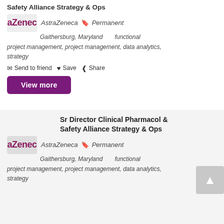Safety Alliance Strategy & Ops
AstraZeneca  Permanent
Gaithersburg, Maryland    functional
project management, project management, data analytics, strategy
Send to friend  Save  Share
View more
Sr Director Clinical Pharmacol & Safety Alliance Strategy & Ops
AstraZeneca  Permanent
Gaithersburg, Maryland    functional
project management, project management, data analytics, strategy